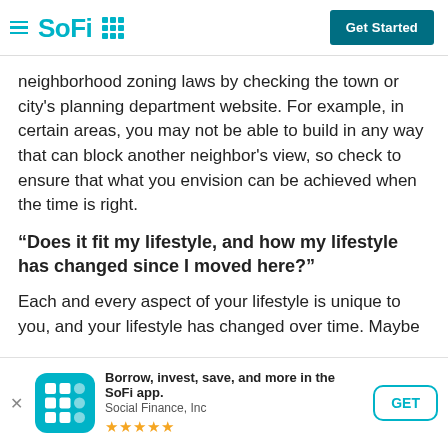SoFi | Get Started
neighborhood zoning laws by checking the town or city's planning department website. For example, in certain areas, you may not be able to build in any way that can block another neighbor's view, so check to ensure that what you envision can be achieved when the time is right.
“Does it fit my lifestyle, and how my lifestyle has changed since I moved here?”
Each and every aspect of your lifestyle is unique to you, and your lifestyle has changed over time. Maybe you were into the bar scene a few years ago, but now you’re more of a hiker and want to be near trails. Or perhaps you’re in an area where none of the neighbors talk to each other and
[Figure (screenshot): SoFi app download banner with icon, title 'Borrow, invest, save, and more in the SoFi app.', subtitle 'Social Finance, Inc', 4.5 star rating, and GET button]